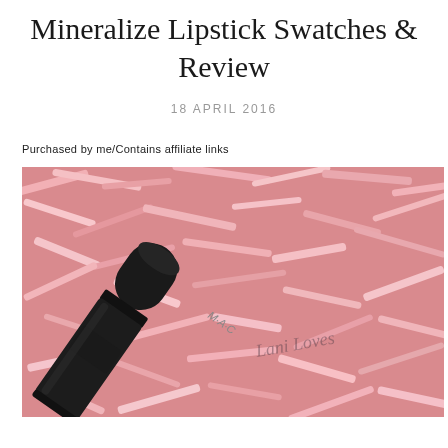Mineralize Lipstick Swatches & Review
18 APRIL 2016
Purchased by me/Contains affiliate links
[Figure (photo): MAC Mineralize Lipstick in black cylindrical tube lying on pink shredded paper/tissue, with 'Lani Loves' watermark text visible on the image]